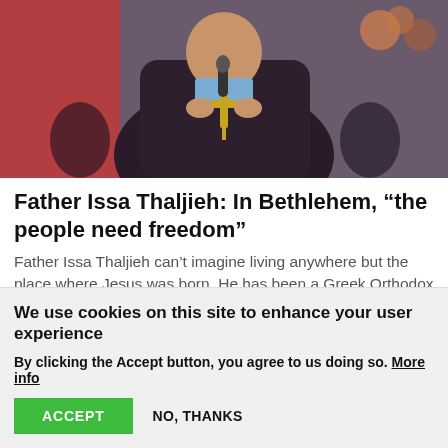[Figure (photo): A Greek Orthodox priest in dark robes holding a microphone and gesturing with his hand, wearing a gold cross necklace, with a red backdrop and people visible in the background.]
Father Issa Thaljieh: In Bethlehem, “the people need freedom”
Father Issa Thaljieh can’t imagine living anywhere but the place where Jesus was born. He has been a Greek Orthodox parish priest at the Church of Nativity in Bethlehem for a decade.
25 March 2022
We use cookies on this site to enhance your user experience
By clicking the Accept button, you agree to us doing so. More info
ACCEPT    NO, THANKS